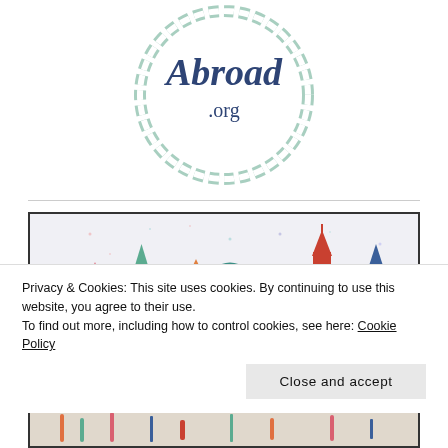[Figure (logo): Studying Abroad .org circular logo with hand-lettered text 'Abroad .org' in navy blue brush script, surrounded by a dashed mint/sage green circle border]
[Figure (illustration): Watercolor illustration of stylized colorful city landmarks/skylines in pink, teal, orange, red, and blue with a compass/location pin icon in the center]
Privacy & Cookies: This site uses cookies. By continuing to use this website, you agree to their use.
To find out more, including how to control cookies, see here: Cookie Policy
Close and accept
[Figure (illustration): Partial bottom strip showing decorative illustration, appears to be continuation of a world landmarks image]